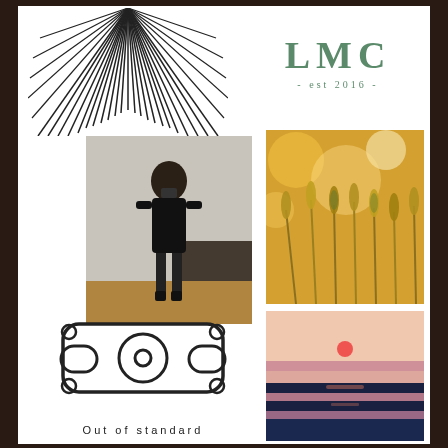[Figure (logo): Sunburst/radiating lines logo in black on white background, top left]
[Figure (logo): LMC logo with text 'LMC' in green serif font and subtitle '- est 2016 -' below, top right]
[Figure (photo): Fashion photo: woman in black dress taking mirror selfie in a room]
[Figure (photo): Golden wheat field close-up with warm sunlight bokeh]
[Figure (logo): Out of standard logo: geometric circular icon with rounded rectangle frame and circles at corners, with text 'Out of standard' below]
[Figure (photo): Sunset over water/beach: horizontal bands of pink and purple sky, dark water, and shoreline]